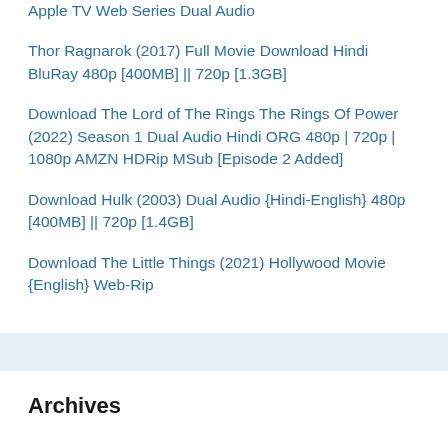Apple TV Web Series Dual Audio
Thor Ragnarok (2017) Full Movie Download Hindi BluRay 480p [400MB] || 720p [1.3GB]
Download The Lord of The Rings The Rings Of Power (2022) Season 1 Dual Audio Hindi ORG 480p | 720p | 1080p AMZN HDRip MSub [Episode 2 Added]
Download Hulk (2003) Dual Audio {Hindi-English} 480p [400MB] || 720p [1.4GB]
Download The Little Things (2021) Hollywood Movie {English} Web-Rip
Archives